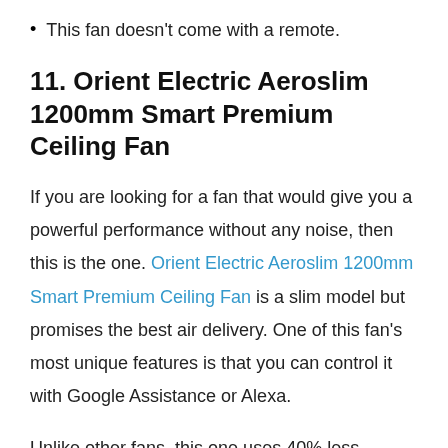This fan doesn't come with a remote.
11. Orient Electric Aeroslim 1200mm Smart Premium Ceiling Fan
If you are looking for a fan that would give you a powerful performance without any noise, then this is the one. Orient Electric Aeroslim 1200mm Smart Premium Ceiling Fan is a slim model but promises the best air delivery. One of this fan's most unique features is that you can control it with Google Assistance or Alexa.
Unlike other fans, this one uses 40% less energy